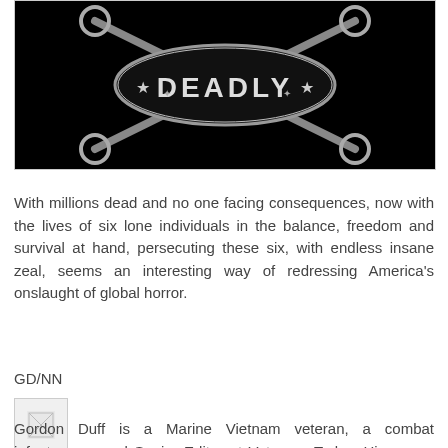[Figure (illustration): Black background logo/emblem with the word DEADLY in metallic chrome style lettering, with crossed implements and decorative elements]
With millions dead and no one facing consequences, now with the lives of six lone individuals in the balance, freedom and survival at hand, persecuting these six, with endless insane zeal, seems an interesting way of redressing America's onslaught of global horror.
GD/NN
[Figure (photo): Small author photo thumbnail]
Gordon Duff is a Marine Vietnam veteran, a combat infantryman, and Senior Editor at Veterans Today. His career has included extensive experience in international banking along with such diverse areas as consulting on counter